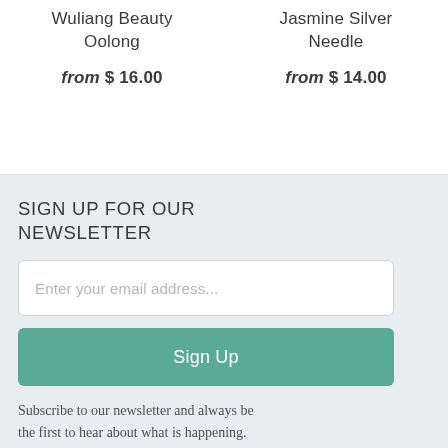Wuliang Beauty Oolong
from $ 16.00
Jasmine Silver Needle
from $ 14.00
SIGN UP FOR OUR NEWSLETTER
Enter your email address...
Sign Up
Subscribe to our newsletter and always be the first to hear about what is happening.
BLUE WILLOW TEA
Search